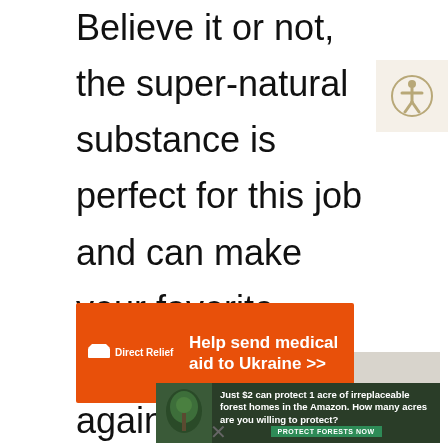Believe it or not, the super-natural substance is perfect for this job and can make your favorite sheets white again in just one wash. Now that's what we call a happy ending!
[Figure (other): Accessibility icon button (person with circle) in top-right corner]
[Figure (other): Direct Relief advertisement banner: orange background, logo on left, text 'Help send medical aid to Ukraine >>']
[Figure (other): Amazon rainforest conservation advertisement: dark green background with sloth image, text 'Just $2 can protect 1 acre of irreplaceable forest homes in the Amazon. How many acres are you willing to protect?' with 'PROTECT FORESTS NOW' button]